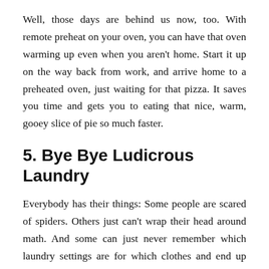Well, those days are behind us now, too. With remote preheat on your oven, you can have that oven warming up even when you aren't home. Start it up on the way back from work, and arrive home to a preheated oven, just waiting for that pizza. It saves you time and gets you to eating that nice, warm, gooey slice of pie so much faster.
5. Bye Bye Ludicrous Laundry
Everybody has their things: Some people are scared of spiders. Others just can't wrap their head around math. And some can just never remember which laundry settings are for which clothes and end up washing everything on super cold to be safe. Sound like you? Yeah, don't worry, we've all been there.
Well, now your washing machine can take care of that for you. It can recommend the best program based on